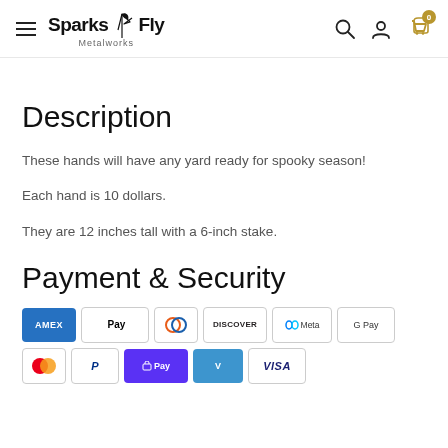Sparks Fly Metalworks — navigation header with hamburger menu, logo, search, account, and cart icons
Description
These hands will have any yard ready for spooky season!
Each hand is 10 dollars.
They are 12 inches tall with a 6-inch stake.
Payment & Security
[Figure (logo): Payment method logos: Amex, Apple Pay, Diners Club, Discover, Meta Pay, Google Pay, Mastercard, PayPal, Shop Pay, Venmo, Visa]